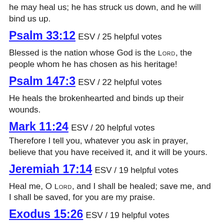he may heal us; he has struck us down, and he will bind us up.
Psalm 33:12 ESV / 25 helpful votes
Blessed is the nation whose God is the LORD, the people whom he has chosen as his heritage!
Psalm 147:3 ESV / 22 helpful votes
He heals the brokenhearted and binds up their wounds.
Mark 11:24 ESV / 20 helpful votes
Therefore I tell you, whatever you ask in prayer, believe that you have received it, and it will be yours.
Jeremiah 17:14 ESV / 19 helpful votes
Heal me, O LORD, and I shall be healed; save me, and I shall be saved, for you are my praise.
Exodus 15:26 ESV / 19 helpful votes